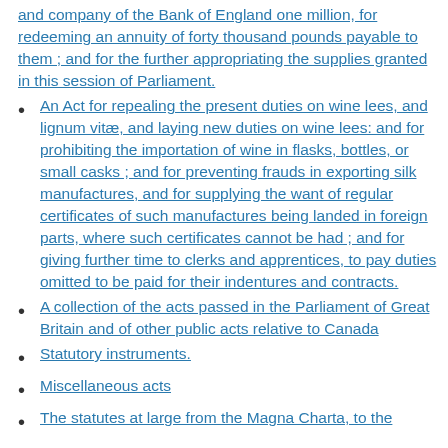and company of the Bank of England one million, for redeeming an annuity of forty thousand pounds payable to them ; and for the further appropriating the supplies granted in this session of Parliament.
An Act for repealing the present duties on wine lees, and lignum vitæ, and laying new duties on wine lees: and for prohibiting the importation of wine in flasks, bottles, or small casks ; and for preventing frauds in exporting silk manufactures, and for supplying the want of regular certificates of such manufactures being landed in foreign parts, where such certificates cannot be had ; and for giving further time to clerks and apprentices, to pay duties omitted to be paid for their indentures and contracts.
A collection of the acts passed in the Parliament of Great Britain and of other public acts relative to Canada
Statutory instruments.
Miscellaneous acts
The statutes at large from the Magna Charta, to the